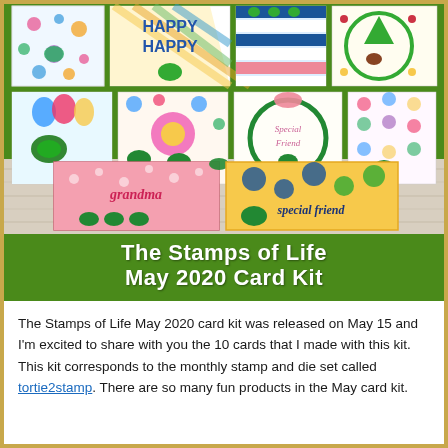[Figure (photo): A collage of 10 handmade greeting cards themed with turtle/tortoise stamps in colorful designs, displayed on a wooden surface. Below the collage is a green banner with white bold text reading 'The Stamps of Life May 2020 Card Kit'.]
The Stamps of Life May 2020 card kit was released on May 15 and I'm excited to share with you the 10 cards that I made with this kit. This kit corresponds to the monthly stamp and die set called tortie2stamp. There are so many fun products in the May card kit.